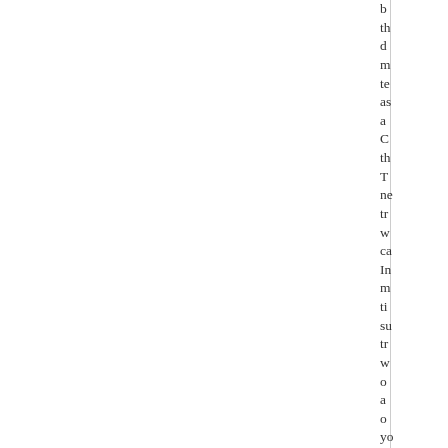be the they do me te as a C th Tr ne tr w ca In m ti su tr w o a o yo a